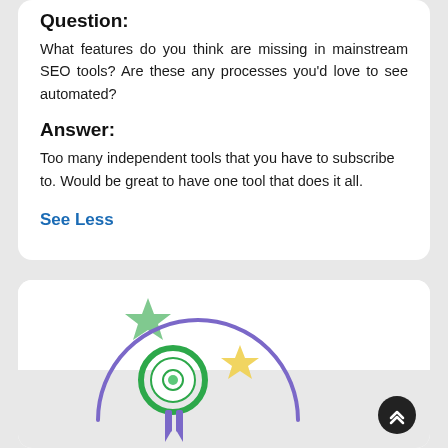Question:
What features do you think are missing in mainstream SEO tools? Are these any processes you'd love to see automated?
Answer:
Too many independent tools that you have to subscribe to. Would be great to have one tool that does it all.
See Less
[Figure (illustration): An illustration showing a badge/medal icon with a green circle and ribbon, a green star, a yellow star, and a purple arc suggesting a gamification or achievement graphic.]